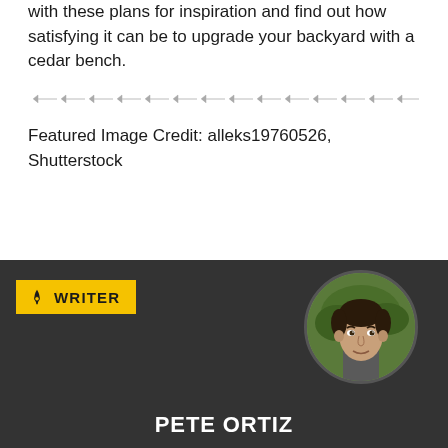with these plans for inspiration and find out how satisfying it can be to upgrade your backyard with a cedar bench.
[Figure (other): Decorative arrow/chevron divider line]
Featured Image Credit: alleks19760526, Shutterstock
[Figure (other): Dark author bio section with WRITER badge, circular author photo, and author name PETE ORTIZ]